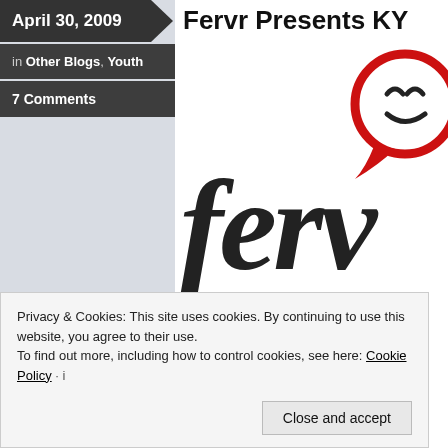April 30, 2009
in Other Blogs, Youth
7 Comments
Fervr Presents KY
[Figure (logo): Fervr logo — stylized dark handwritten 'ferv' text with a red speech bubble icon containing a smiley face]
For KYCK 09 I'll be bringing along my vi for Fervr. I'll be interviewing some youth
Privacy & Cookies: This site uses cookies. By continuing to use this website, you agree to their use.
To find out more, including how to control cookies, see here: Cookie Policy
Close and accept